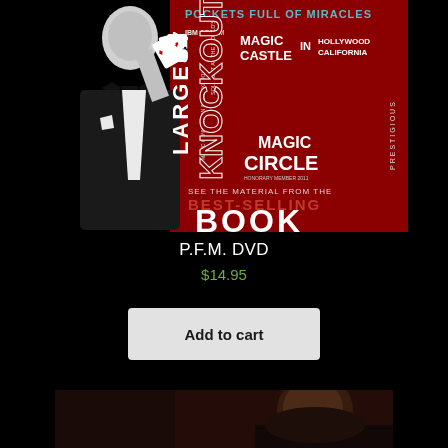[Figure (photo): Product image for P.F.M. DVD showing a magician in black tuxedo with playing cards against a red background with text 'POCKETS FULL OF MIRACLES', 'MAGIC CASTLE IN HOLLYWOOD CALIFORNIA', 'MAGIC CIRCLE', 'SEE THE MATERIAL FROM THE BEST-SELLING BOOK']
P.F.M. DVD
$14.95
Add to cart
[Figure (photo): Partial bottom image showing a person's face and upper body in dark/reddish lighting]